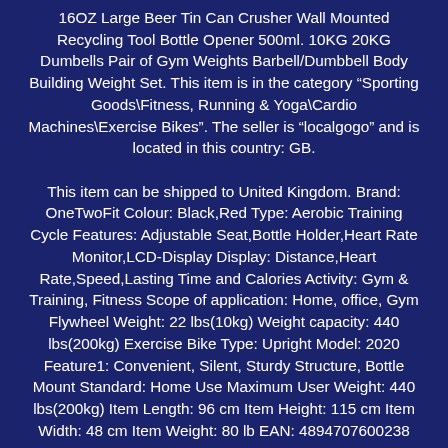16OZ Large Beer Tin Can Crusher Wall Mounted Recycling Tool Bottle Opener 500ml. 10KG 20KG Dumbells Pair of Gym Weights Barbell/Dumbbell Body Building Weight Set. This item is in the category "Sporting Goods\Fitness, Running & Yoga\Cardio Machines\Exercise Bikes". The seller is "localgogo" and is located in this country: GB.

This item can be shipped to United Kingdom. Brand: OneTwoFit Colour: Black,Red Type: Aerobic Training Cycle Features: Adjustable Seat,Bottle Holder,Heart Rate Monitor,LCD-Display Display: Distance,Heart Rate,Speed,Lasting Time and Calories Activity: Gym & Training, Fitness Scope of application: Home, office, Gym Flywheel Weight: 22 lbs(10kg) Weight capacity: 440 lbs(200kg) Exercise Bike Type: Upright Model: 2020 Feature1: Convenient, Silent, Sturdy Structure, Bottle Mount Standard: Home Use Maximum User Weight: 440 lbs(200kg) Item Length: 96 cm Item Height: 115 cm Item Width: 48 cm Item Weight: 80 lb EAN: 4894707600238
More info on eBay...